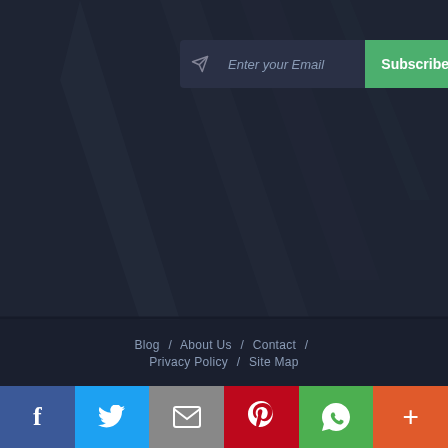[Figure (other): Email subscription form with text input and green Subscribe button on dark background]
Blog / About Us / Contact / Privacy Policy / Site Map
Copyright © 2022 All Rights Reserved - TheCityList.my
[Figure (other): Social media share bar with Facebook, Twitter, Email, Pinterest, WhatsApp, and More buttons]